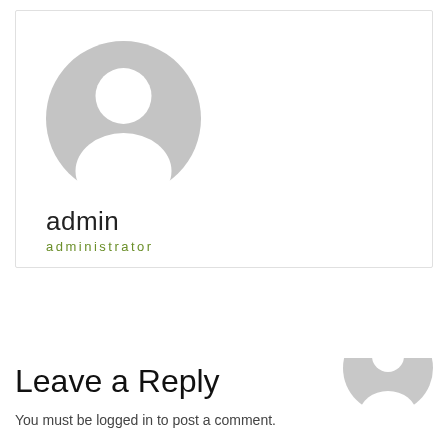[Figure (illustration): Default avatar placeholder — grey circle with white silhouette of a person (head and shoulders)]
admin
administrator
Leave a Reply
You must be logged in to post a comment.
[Figure (illustration): Partial default avatar placeholder visible in bottom-right corner]